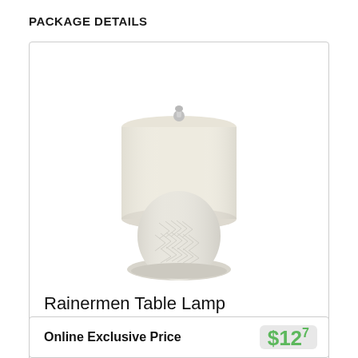PACKAGE DETAILS
[Figure (photo): White ceramic table lamp with herringbone/chevron pattern base and white drum shade, silver finial at top]
Rainermen Table Lamp
Signature Design By Ashley L180024
QTY: 2
Online Exclusive Price $127